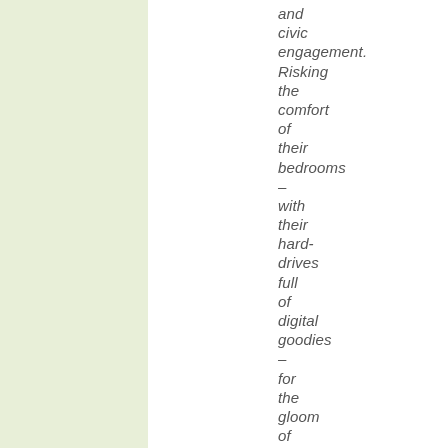and civic engagement. Risking the comfort of their bedrooms – with their hard-drives full of digital goodies – for the gloom of a prison cell –